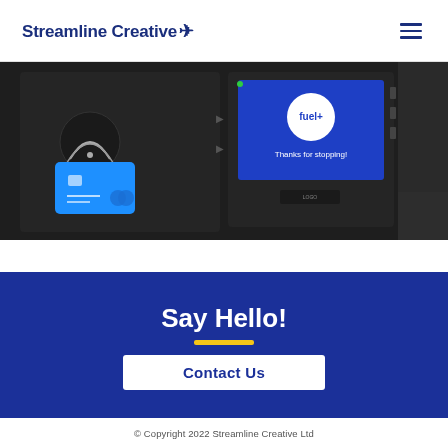Streamline Creative
[Figure (photo): A fuel pump terminal showing a contactless payment card being tapped, with a screen displaying 'fuel+' and 'Thanks for stopping!' message on a dark background]
Say Hello!
Contact Us
© Copyright 2022 Streamline Creative Ltd